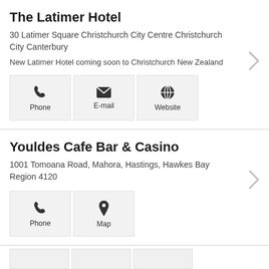The Latimer Hotel
30 Latimer Square Christchurch City Centre Christchurch City Canterbury
New Latimer Hotel coming soon to Christchurch New Zealand
[Figure (infographic): Three action buttons: Phone, E-mail, Website]
Youldes Cafe Bar & Casino
1001 Tomoana Road, Mahora, Hastings, Hawkes Bay Region 4120
[Figure (infographic): Two action buttons: Phone, Map]
[Figure (infographic): Three partially visible buttons at bottom of page]